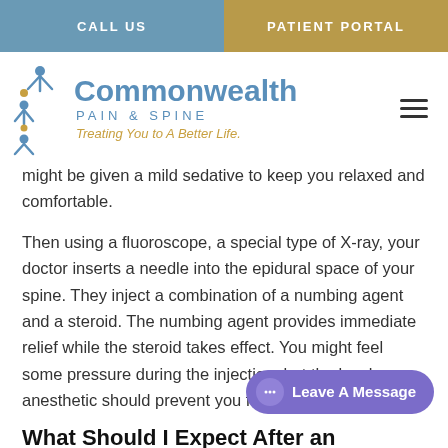CALL US | PATIENT PORTAL
[Figure (logo): Commonwealth Pain & Spine logo with tagline 'Treating You to A Better Life.' and figure icon of people]
might be given a mild sedative to keep you relaxed and comfortable.
Then using a fluoroscope, a special type of X-ray, your doctor inserts a needle into the epidural space of your spine. They inject a combination of a numbing agent and a steroid. The numbing agent provides immediate relief while the steroid takes effect. You might feel some pressure during the injection, but the local anesthetic should prevent you from feel
What Should I Expect After an Epidural